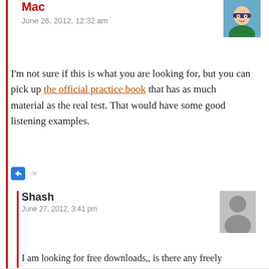Mac
June 26, 2012, 12:32 am
I'm not sure if this is what you are looking for, but you can pick up the official practice book that has as much material as the real test. That would have some good listening examples.
Shash
June 27, 2012, 3:41 pm
I am looking for free downloads,, is there any freely downloadable links for N5 listening??